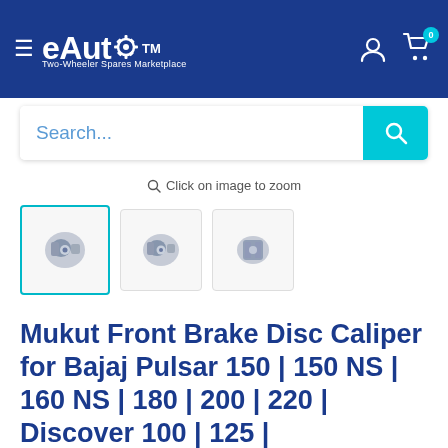eAuto TM — Two-Wheeler Spares Marketplace
Search...
🔍 Click on image to zoom
[Figure (photo): Three product thumbnail images of Mukut Front Brake Disc Caliper. The first thumbnail is selected (highlighted with a teal border). All three show metallic brake caliper components from different angles.]
Mukut Front Brake Disc Caliper for Bajaj Pulsar 150 | 150 NS | 160 NS | 180 | 200 | 220 | Discover 100 | 125 |